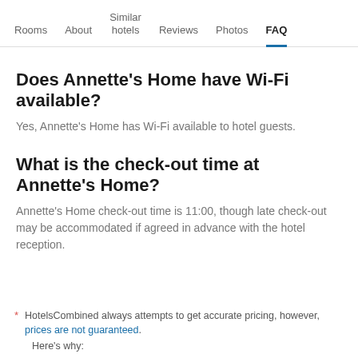Rooms  About  Similar hotels  Reviews  Photos  FAQ
Does Annette's Home have Wi-Fi available?
Yes, Annette's Home has Wi-Fi available to hotel guests.
What is the check-out time at Annette's Home?
Annette's Home check-out time is 11:00, though late check-out may be accommodated if agreed in advance with the hotel reception.
* HotelsCombined always attempts to get accurate pricing, however, prices are not guaranteed. Here's why: